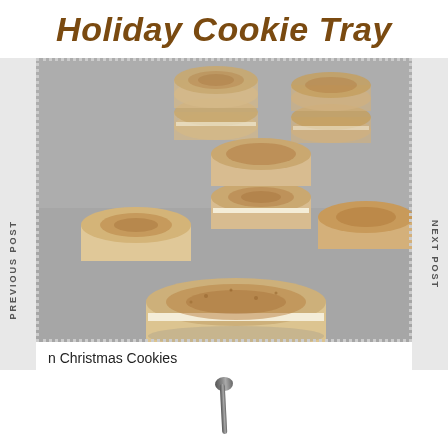Holiday Cookie Tray
PREVIOUS POST
NEXT POST
[Figure (photo): Multiple stacked macaron cookies with tan/beige shells dusted with spice, photographed on a gray surface]
n Christmas Cookies
[Figure (photo): Close-up of a vintage silver spoon on a white background]